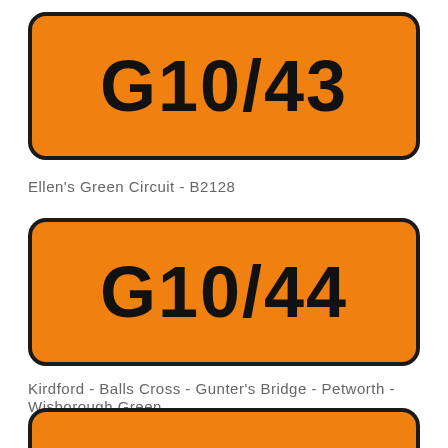[Figure (other): Orange route badge with black border and text G10/43]
Ellen's Green Circuit - B2128
[Figure (other): Orange route badge with black border and text G10/44]
Kirdford - Balls Cross - Gunter's Bridge - Petworth - Wisborough Green
[Figure (other): Orange route badge with black border, partially visible at bottom]